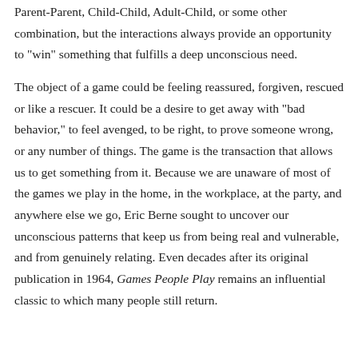Parent-Parent, Child-Child, Adult-Child, or some other combination, but the interactions always provide an opportunity to "win" something that fulfills a deep unconscious need.
The object of a game could be feeling reassured, forgiven, rescued or like a rescuer. It could be a desire to get away with "bad behavior," to feel avenged, to be right, to prove someone wrong, or any number of things. The game is the transaction that allows us to get something from it. Because we are unaware of most of the games we play in the home, in the workplace, at the party, and anywhere else we go, Eric Berne sought to uncover our unconscious patterns that keep us from being real and vulnerable, and from genuinely relating. Even decades after its original publication in 1964, Games People Play remains an influential classic to which many people still return.